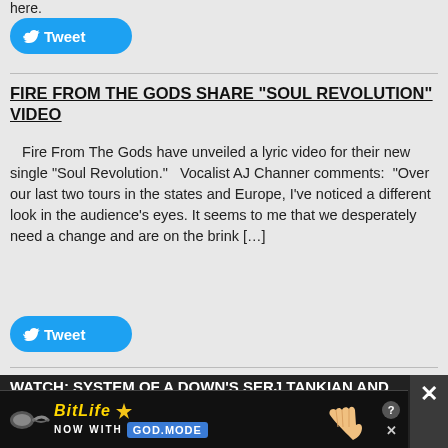here.
[Figure (screenshot): Blue Twitter Tweet button with bird icon]
FIRE FROM THE GODS SHARE “SOUL REVOLUTION” VIDEO
Fire From The Gods have unveiled a lyric video for their new single “Soul Revolution.”   Vocalist AJ Channer comments:  "Over our last two tours in the states and Europe, I've noticed a different look in the audience's eyes. It seems to me that we desperately need a change and are on the brink […]
[Figure (screenshot): Blue Twitter Tweet button with bird icon]
WATCH: SYSTEM OF A DOWN’S SERJ TANKIAN AND JOHN DOLMAYAN PERFORM “AERIALS” W/ COVER BA...
Sy...
[Figure (screenshot): BitLife advertisement banner - NOW WITH GOD MODE]